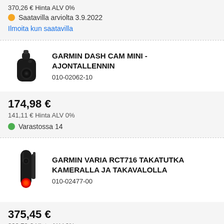370,26 €  Hinta ALV 0%
Saatavilla arviolta 3.9.2022
Ilmoita kun saatavilla
GARMIN DASH CAM MINI - AJONTALLENNIN
010-02062-10
[Figure (photo): Garmin Dash Cam Mini product photo, small black camera]
174,98 €
141,11 €  Hinta ALV 0%
Varastossa 14
GARMIN VARIA RCT716 TAKATUTKA KAMERALLA JA TAKAVALOLLA
010-02477-00
[Figure (photo): Garmin Varia RCT716 product photo, black device with red rear light]
375,45 €
302,78 €  Hinta ALV 0%